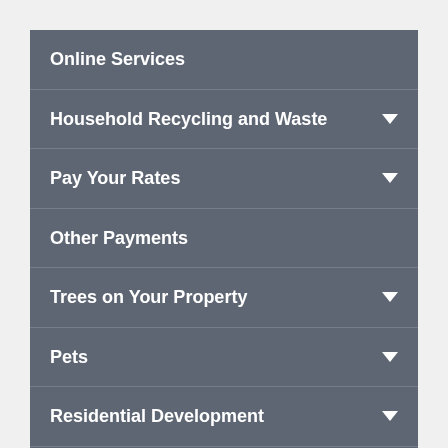Online Services
Household Recycling and Waste
Pay Your Rates
Other Payments
Trees on Your Property
Pets
Residential Development